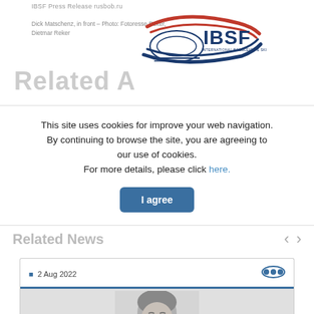IBSF Press Release rusbob.ru
Dick Matschenz, in front – Photo: Fotoresse Reker, Dietmar Reker
[Figure (logo): IBSF International Bobsleigh & Skeleton Federation logo]
Related A...
This site uses cookies for improve your web navigation. By continuing to browse the site, you are agreeing to our use of cookies. For more details, please click here.
I agree
Related News
2 Aug 2022
[Figure (photo): Portrait photo of a man with short grey hair, looking upward]